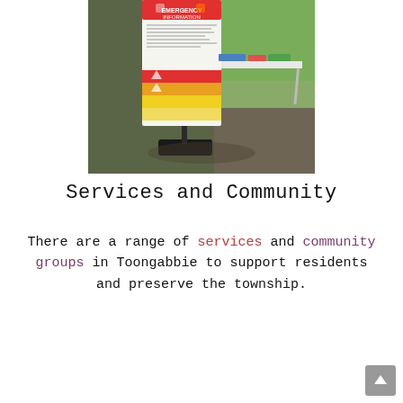[Figure (photo): Outdoor emergency information display board next to a folding table with brochures, on a gravel path with grass in background.]
Services and Community
There are a range of services and community groups in Toongabbie to support residents and preserve the township.